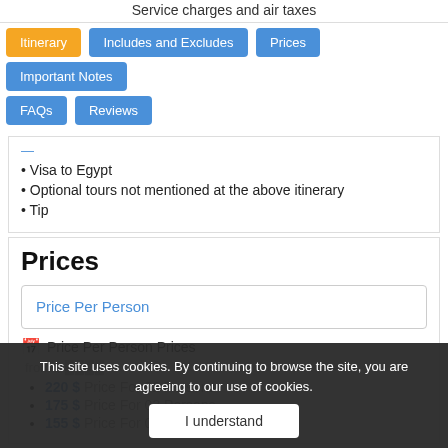Service charges and air taxes
Itinerary
Includes and Excludes
Prices
Important Notes
FAQs
Reviews
Visa to Egypt
Optional tours not mentioned at the above itinerary
Tip
Prices
Price Per Person
Price Per Person Prices
220 $ Price For 02 Persons
175 $ Price For 03 Persons
155 $ Price For 04 Persons
This site uses cookies. By continuing to browse the site, you are agreeing to our use of cookies.